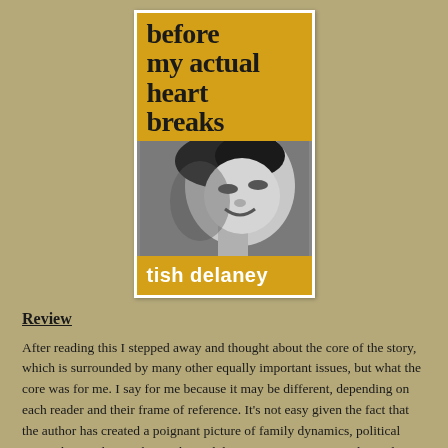[Figure (illustration): Book cover of 'before my actual heart breaks' by tish delaney. Yellow/gold top section with bold black title text, black and white photo of a smiling person in the middle, yellow/gold bottom section with white author name text.]
Review
After reading this I stepped away and thought about the core of the story, which is surrounded by many other equally important issues, but what the core was for me. I say for me because it may be different, depending on each reader and their frame of reference. It's not easy given the fact that the author has created a poignant picture of family dynamics, political atmosphere, religious hierarchy and dominance, economic and social structure in Ireland